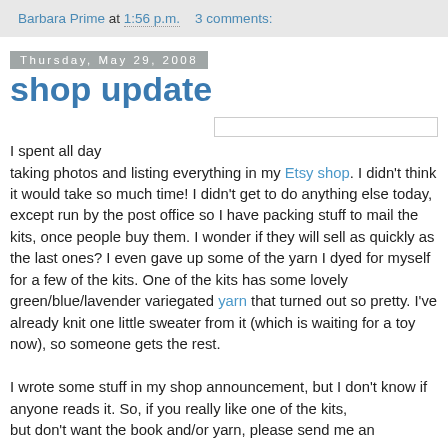Barbara Prime at 1:56 p.m.    3 comments:
Thursday, May 29, 2008
shop update
I spent all day taking photos and listing everything in my Etsy shop. I didn't think it would take so much time! I didn't get to do anything else today, except run by the post office so I have packing stuff to mail the kits, once people buy them. I wonder if they will sell as quickly as the last ones? I even gave up some of the yarn I dyed for myself for a few of the kits. One of the kits has some lovely green/blue/lavender variegated yarn that turned out so pretty. I've already knit one little sweater from it (which is waiting for a toy now), so someone gets the rest.

I wrote some stuff in my shop announcement, but I don't know if anyone reads it. So, if you really like one of the kits, but don't want the book and/or yarn, please send me an